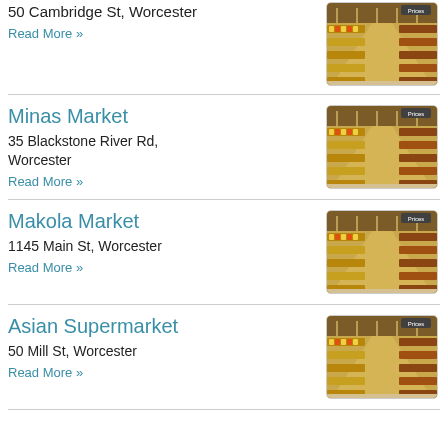50 Cambridge St, Worcester
Read More »
[Figure (photo): Interior of a grocery store showing product aisles with yellow shelving]
Minas Market
35 Blackstone River Rd, Worcester
Read More »
[Figure (photo): Interior of a grocery store showing product aisles with yellow shelving]
Makola Market
1145 Main St, Worcester
Read More »
[Figure (photo): Interior of a grocery store showing product aisles with yellow shelving]
Asian Supermarket
50 Mill St, Worcester
Read More »
[Figure (photo): Interior of a grocery store showing product aisles with yellow shelving]